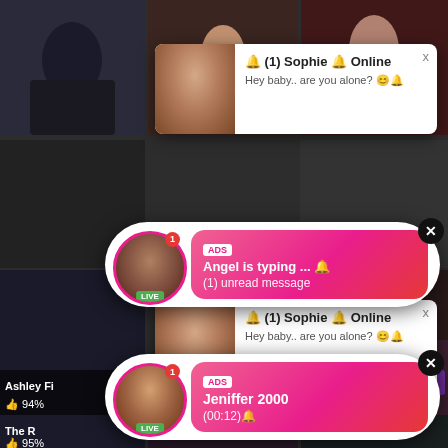[Figure (screenshot): Adult video site screenshot with two overlapping notification popups showing 'Sophie Online' messages and two pink chat notification popups for 'Angel' and 'Jeniffer 2000' with ADS labels and LIVE badges.]